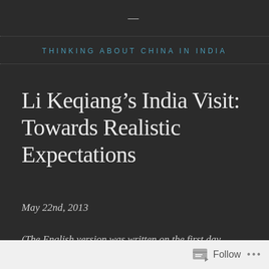THINKING ABOUT CHINA IN INDIA
Li Keqiang’s India Visit: Towards Realistic Expectations
May 22nd, 2013
(The English version was written on the first day